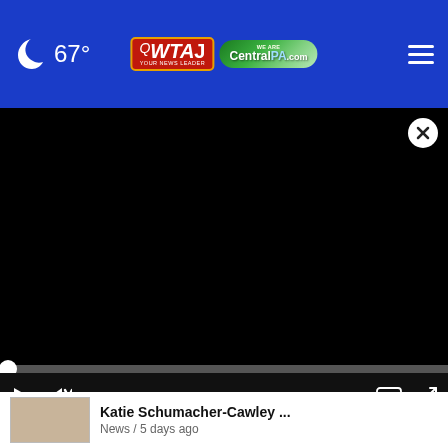67° | WTAJ | CentralPA.com
[Figure (screenshot): Black video player area with close (X) button in top-right corner]
[Figure (other): Video player controls bar: play button, mute button, time 00:00, caption button, fullscreen button, and progress bar with dot at start]
Hummingbird Speedway
Katie Schumacher-Cawley ... News / 5 days ago